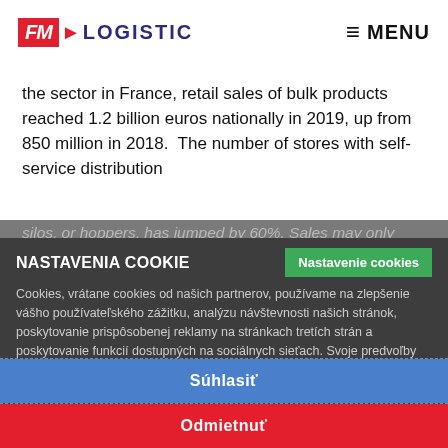[Figure (logo): FM Logistic logo with red FM box and blue LOGISTIC text]
≡ MENU
the sector in France, retail sales of bulk products reached 1.2 billion euros nationally in 2019, up from 850 million in 2018.  The number of stores with self-service distribution silos, or hoppers, has jumped by 60%. Sales may only ...of all food, but th...
NASTAVENIA COOKIE
Cookies, vrátane cookies od našich partnerov, používame na zlepšenie vášho používateľského zážitku, analýzu návštevnosti našich stránok, poskytovanie prispôsobenej reklamy na stránkach tretích strán a poskytovanie funkcií dostupných na sociálnych sieťach. Svoje predvoľby môžete kedykoľvek spravovať v nastaveniach súborov cookie. Ak sa chcete dozvedieť viac o tom, ako my a naši partneri používame vaše osobné údaje, prečítajte si naše zásady ochrany osobných údajov.
Súhlasiť
Odmietnuť